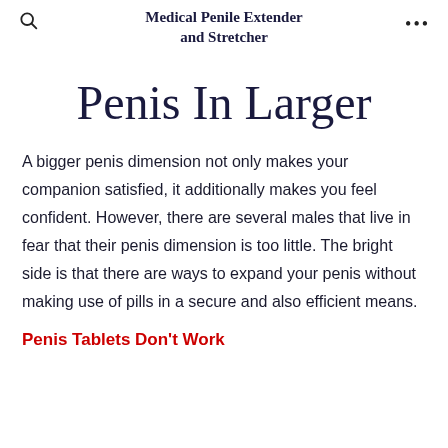Medical Penile Extender and Stretcher
Penis In Larger
A bigger penis dimension not only makes your companion satisfied, it additionally makes you feel confident. However, there are several males that live in fear that their penis dimension is too little. The bright side is that there are ways to expand your penis without making use of pills in a secure and also efficient means.
Penis Tablets Don't Work